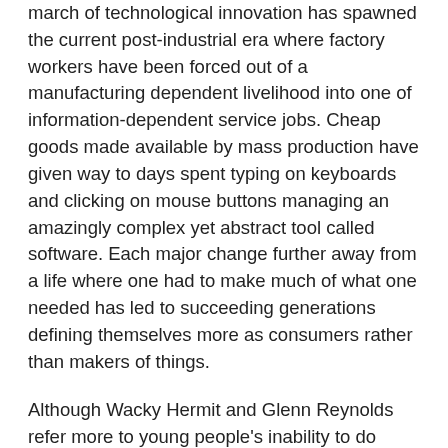march of technological innovation has spawned the current post-industrial era where factory workers have been forced out of a manufacturing dependent livelihood into one of information-dependent service jobs. Cheap goods made available by mass production have given way to days spent typing on keyboards and clicking on mouse buttons managing an amazingly complex yet abstract tool called software. Each major change further away from a life where one had to make much of what one needed has led to succeeding generations defining themselves more as consumers rather than makers of things.
Although Wacky Hermit and Glenn Reynolds refer more to young people's inability to do simple repair and construction, the loss of hand-craftsmanship goes along with this. One of the hardest hit victims of the industrial revolution were those who lived on crafting carefully by hand objects of daily use. Who needed or could afford a craftsman to produce a one-of-a-kind chair or table with fine details when a manufactured alternative was available at much lower price? This problem inspired the Arts and Crafts movement, which emerged during the latter half of the nineteenth century as an effort to